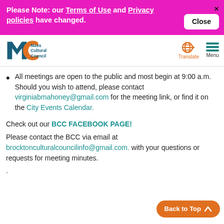Please Note: our Terms of Use and Privacy policies have changed. Close
[Figure (logo): Mass Cultural Council logo with MC monogram in teal/orange, with Translate globe icon and Menu hamburger icon in nav bar]
All meetings are open to the public and most begin at 9:00 a.m. Should you wish to attend, please contact virginiabmahoney@gmail.com for the meeting link, or find it on the City Events Calendar.
Check out our BCC FACEBOOK PAGE!
Please contact the BCC via email at brocktonculturalcouncilinfo@gmail.com. with your questions or requests for meeting minutes.
.